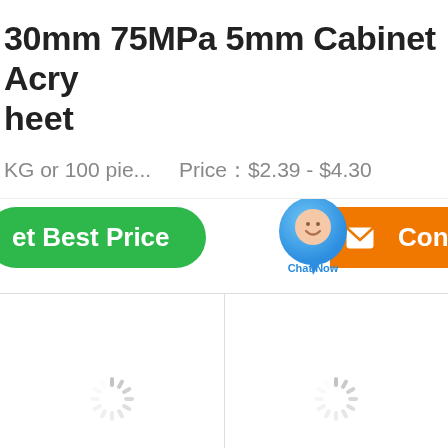30mm 75MPa 5mm Cabinet Acry... heet
KG or 100 pie...    Price：$2.39 - $4.30
[Figure (screenshot): E-commerce product page showing a green 'Get Best Price' button, a circular chat widget labeled 'Chat Now', and an orange 'Contact' button]
[Figure (screenshot): Product image gallery area with two loading spinner placeholders]